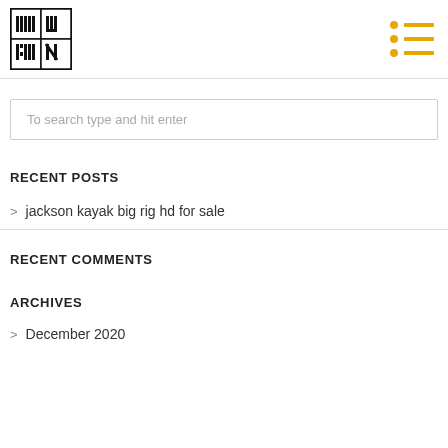WILLY CHIN logo with hamburger menu
To search type and hit enter
RECENT POSTS
> jackson kayak big rig hd for sale
RECENT COMMENTS
ARCHIVES
> December 2020